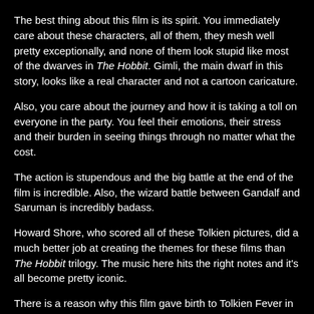The best thing about this film is its spirit. You immediately care about these characters, all of them, they mesh well pretty exceptionally, and none of them look stupid like most of the dwarves in The Hobbit. Gimli, the main dwarf in this story, looks like a real character and not a cartoon caricature.
Also, you care about the journey and how it is taking a toll on everyone in the party. You feel their emotions, their stress and their burden in seeing things through no matter what the cost.
The action is stupendous and the big battle at the end of the film is incredible. Also, the wizard battle between Gandalf and Saruman is incredibly badass.
Howard Shore, who scored all of these Tolkien pictures, did a much better job at creating the themes for these films than The Hobbit trilogy. The music here hits the right notes and it's all become pretty iconic.
There is a reason why this film gave birth to Tolkien Fever in the early 2000s. Everything about it was just right and it was a real example of filmmaking and storytelling perfection.
Rating: 10/10
Pairs well with: the other two Lord of the Rings films, as well as The Hobbit trilogy.